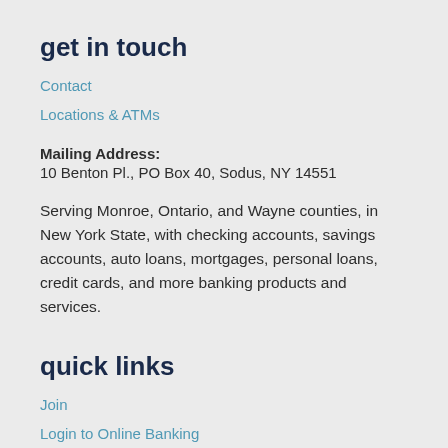get in touch
Contact
Locations & ATMs
Mailing Address:
10 Benton Pl., PO Box 40, Sodus, NY 14551
Serving Monroe, Ontario, and Wayne counties, in New York State, with checking accounts, savings accounts, auto loans, mortgages, personal loans, credit cards, and more banking products and services.
quick links
Join
Login to Online Banking
Apply Online